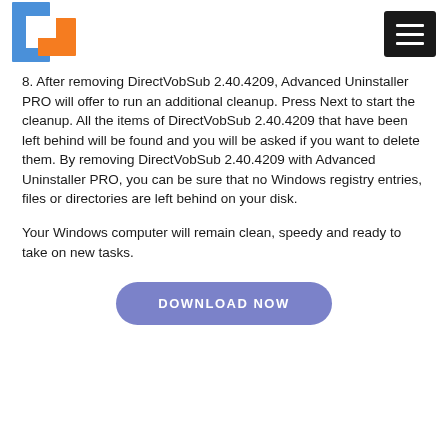[Figure (logo): Blue and orange square logo icon with letter C shape]
[Figure (other): Dark hamburger menu button with three white horizontal lines]
8. After removing DirectVobSub 2.40.4209, Advanced Uninstaller PRO will offer to run an additional cleanup. Press Next to start the cleanup. All the items of DirectVobSub 2.40.4209 that have been left behind will be found and you will be asked if you want to delete them. By removing DirectVobSub 2.40.4209 with Advanced Uninstaller PRO, you can be sure that no Windows registry entries, files or directories are left behind on your disk.
Your Windows computer will remain clean, speedy and ready to take on new tasks.
DOWNLOAD NOW